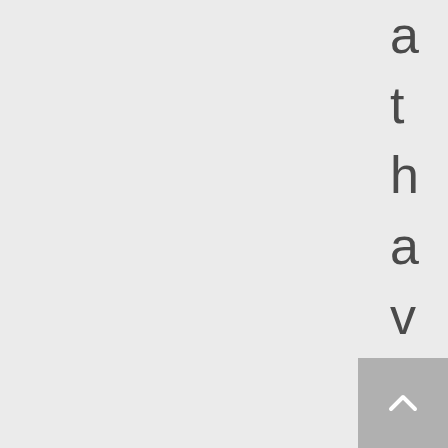a t h a v e s i n c e o c c u r
[Figure (other): Scroll-to-top button with upward chevron arrow icon, grey background]